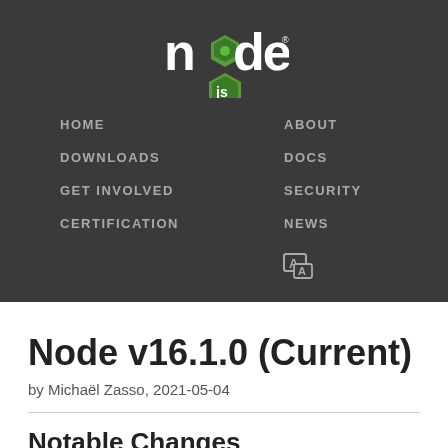[Figure (logo): Node.js logo: stylized 'node' text with a green hexagon replacing the 'o', and a green 'js' shield badge below]
HOME  ABOUT  DOWNLOADS  DOCS  GET INVOLVED  SECURITY  CERTIFICATION  NEWS
Node v16.1.0 (Current)
by Michaël Zasso, 2021-05-04
Notable Changes